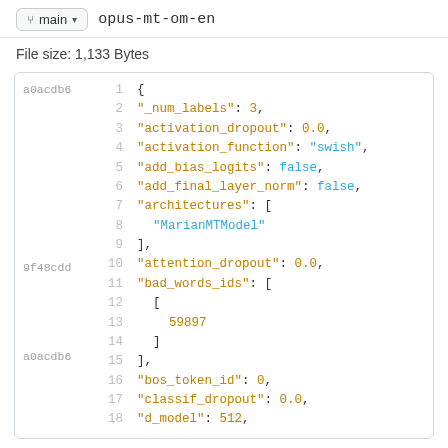main  opus-mt-om-en
File size: 1,133 Bytes
[Figure (screenshot): Code viewer showing JSON content of a model config file. Lines 1-18 visible with git hashes a0acdb6, 9f48cdd, a0acdb6 on the left. JSON keys and values in orange/teal monospace syntax highlighting.]